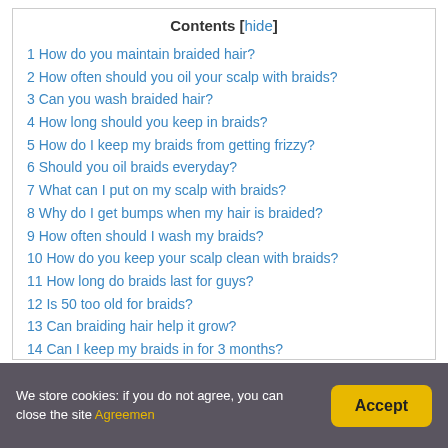Contents [hide]
1 How do you maintain braided hair?
2 How often should you oil your scalp with braids?
3 Can you wash braided hair?
4 How long should you keep in braids?
5 How do I keep my braids from getting frizzy?
6 Should you oil braids everyday?
7 What can I put on my scalp with braids?
8 Why do I get bumps when my hair is braided?
9 How often should I wash my braids?
10 How do you keep your scalp clean with braids?
11 How long do braids last for guys?
12 Is 50 too old for braids?
13 Can braiding hair help it grow?
14 Can I keep my braids in for 3 months?
We store cookies: if you do not agree, you can close the site Agreemen